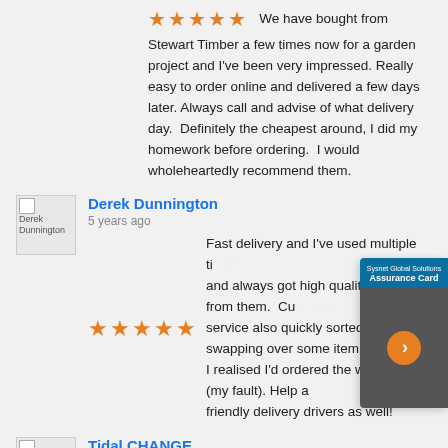We have bought from Stewart Timber a few times now for a garden project and I've been very impressed. Really easy to order online and delivered a few days later. Always call and advise of what delivery day. Definitely the cheapest around, I did my homework before ordering. I would wholeheartedly recommend them.
Derek Dunnington
5 years ago
Fast delivery and I've used multiple times and always got high quality product from them. Their customer service also quickly sorted out swapping over some items when I realised I'd ordered the wrong things (my fault). Help and friendly delivery drivers as well!
Tidal CHANGE
5 years ago
Good quality fence boards. Guys are very helpful as well. Excellent service!
Stephanie Mcmeekin